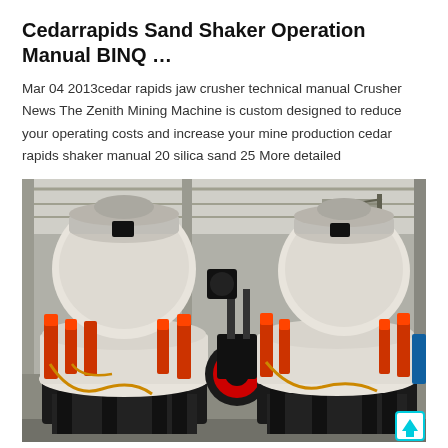Cedarrapids Sand Shaker Operation Manual BINQ …
Mar 04 2013cedar rapids jaw crusher technical manual Crusher News The Zenith Mining Machine is custom designed to reduce your operating costs and increase your mine production cedar rapids shaker manual 20 silica sand 25 More detailed
[Figure (photo): Industrial cone crushers on a factory floor. Two large cream/white cone crusher machines with orange hydraulic cylinders and red painted components are visible inside a large metal-framed warehouse building. Metal staircase visible in the background. A small cyan scroll-to-top icon is visible in the lower right corner.]